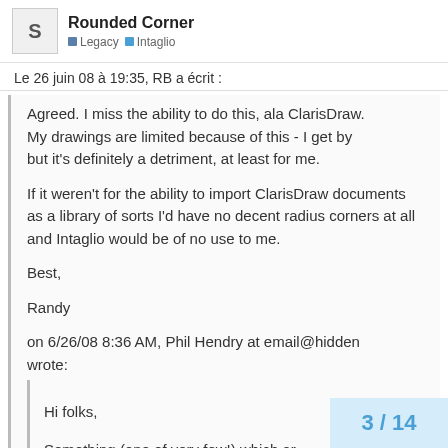Rounded Corner | Legacy | Intaglio
Le 26 juin 08 à 19:35, RB a écrit :
Agreed. I miss the ability to do this, ala ClarisDraw. My drawings are limited because of this - I get by but it's definitely a detriment, at least for me.

If it weren't for the ability to import ClarisDraw documents as a library of sorts I'd have no decent radius corners at all and Intaglio would be of no use to me.

Best,

Randy

on 6/26/08 8:36 AM, Phil Hendry at email@hidden wrote:
Hi folks,

Something (one of very few!) which ar 'Rounded
3 / 14